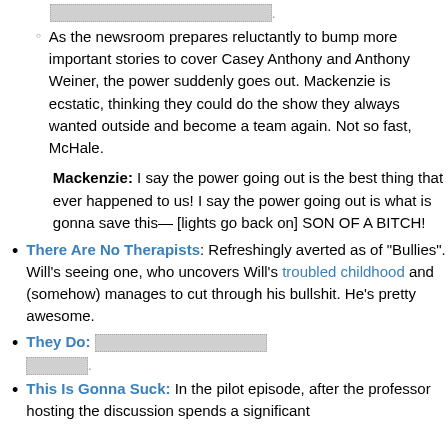As the newsroom prepares reluctantly to bump more important stories to cover Casey Anthony and Anthony Weiner, the power suddenly goes out. Mackenzie is ecstatic, thinking they could do the show they always wanted outside and become a team again. Not so fast, McHale.
Mackenzie: I say the power going out is the best thing that ever happened to us! I say the power going out is what is gonna save this— [lights go back on] SON OF A BITCH!
There Are No Therapists: Refreshingly averted as of "Bullies". Will's seeing one, who uncovers Will's troubled childhood and (somehow) manages to cut through his bullshit. He's pretty awesome.
They Do: [redacted content]
This Is Gonna Suck: In the pilot episode, after the professor hosting the discussion spends a significant